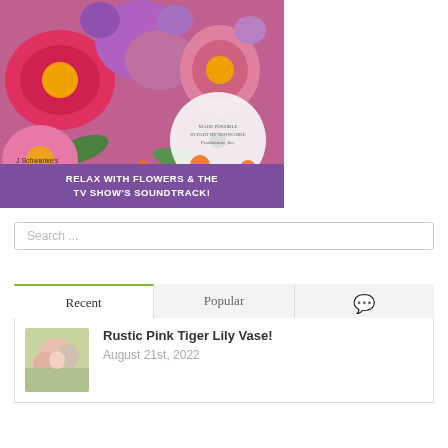[Figure (photo): J Schwanke's Life In Bloom promotional banner showing colorful pink, red, purple flowers with a CD disc overlaid, and the text 'J Schwanke's Life In Bloom']
RELAX WITH FLOWERS & THE TV SHOW'S SOUNDTRACK!
Search ...
Recent
Popular
[Figure (photo): Thumbnail of a rustic pink tiger lily vase arrangement]
Rustic Pink Tiger Lily Vase!
August 21st, 2022